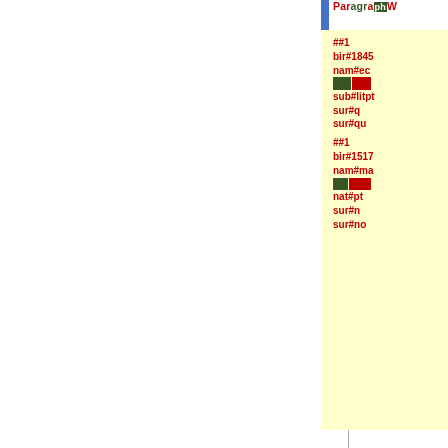Paragraph
##1 bir#1845 nam#ec sub#litpt sur#q sur#qu ##1 bir#1517 nam#ma nat#pt sur#n sur#no